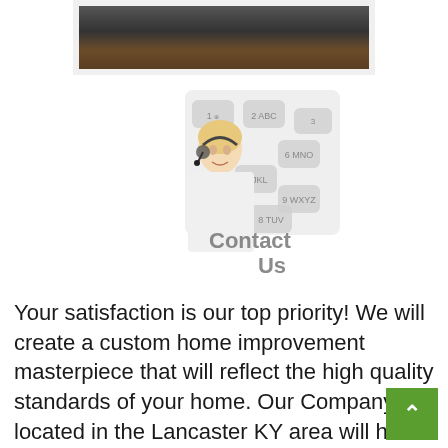[Figure (photo): Partial photo visible at top of page showing people seated in what appears to be a restaurant or bar setting, framed with a white border]
[Figure (illustration): Composite illustration showing a smiling woman with a telephone headset overlaid on a large telephone keypad, with 'Contact Us' text overlaid]
Your satisfaction is our top priority! We will create a custom home improvement masterpiece that will reflect the high quality standards of your home. Our Company located in the Lancaster KY area will h ensure your custom project is everything you wanted. We are confident of this because of the initial